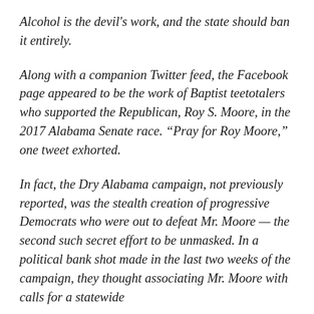Alcohol is the devil's work, and the state should ban it entirely.
Along with a companion Twitter feed, the Facebook page appeared to be the work of Baptist teetotalers who supported the Republican, Roy S. Moore, in the 2017 Alabama Senate race. “Pray for Roy Moore,” one tweet exhorted.
In fact, the Dry Alabama campaign, not previously reported, was the stealth creation of progressive Democrats who were out to defeat Mr. Moore — the second such secret effort to be unmasked. In a political bank shot made in the last two weeks of the campaign, they thought associating Mr. Moore with calls for a statewide